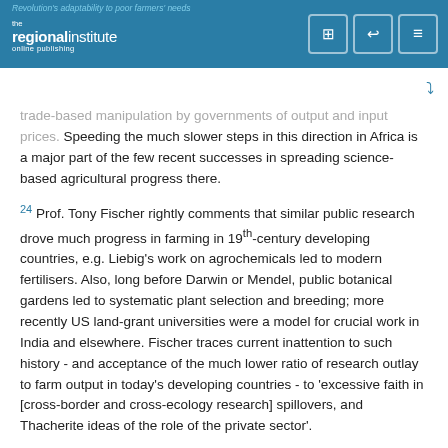Revolution's adaptability to poor farmers' needs — the regionalinstitute online publishing
trade-based manipulation by governments of output and input prices. Speeding the much slower steps in this direction in Africa is a major part of the few recent successes in spreading science-based agricultural progress there.
24 Prof. Tony Fischer rightly comments that similar public research drove much progress in farming in 19th-century developing countries, e.g. Liebig's work on agrochemicals led to modern fertilisers. Also, long before Darwin or Mendel, public botanical gardens led to systematic plant selection and breeding; more recently US land-grant universities were a model for crucial work in India and elsewhere. Fischer traces current inattention to such history - and acceptance of the much lower ratio of research outlay to farm output in today's developing countries - to 'excessive faith in [cross-border and cross-ecology research] spillovers, and Thacherite ideas of the role of the private sector'.
25 For many African situations, it is claimed that good